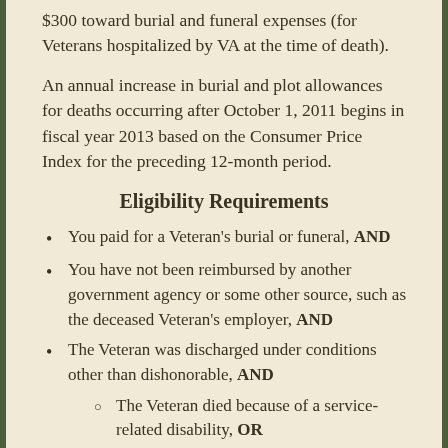$300 toward burial and funeral expenses (for Veterans hospitalized by VA at the time of death).
An annual increase in burial and plot allowances for deaths occurring after October 1, 2011 begins in fiscal year 2013 based on the Consumer Price Index for the preceding 12-month period.
Eligibility Requirements
You paid for a Veteran's burial or funeral, AND
You have not been reimbursed by another government agency or some other source, such as the deceased Veteran's employer, AND
The Veteran was discharged under conditions other than dishonorable, AND
The Veteran died because of a service-related disability, OR